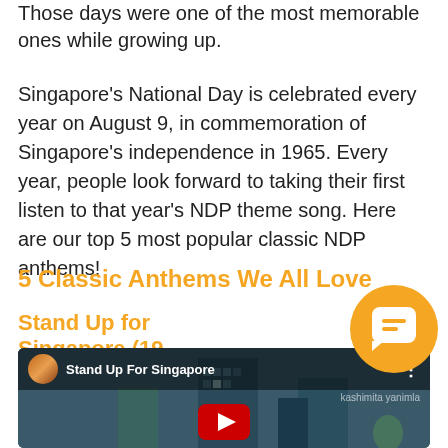Those days were one of the most memorable ones while growing up.
Singapore’s National Day is celebrated every year on August 9, in commemoration of Singapore’s independence in 1965. Every year, people look forward to taking their first listen to that year’s NDP theme song. Here are our top 5 most popular classic NDP anthems!
5 Classic Anthems We All Love
Stand Up for Singapore (19…
[Figure (screenshot): YouTube video thumbnail for 'Stand Up For Singapore' showing a woman with red hair and a building in the background, with a red YouTube play button in the center. Video bar shows avatar circle, title text, and three-dot menu.]